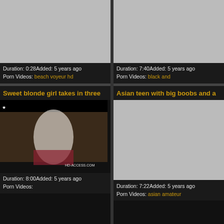[Figure (screenshot): Video thumbnail placeholder (gray rectangle) for beach voyeur hd video]
Duration: 0:28Added: 5 years ago
Porn Videos: beach voyeur hd
[Figure (screenshot): Video thumbnail placeholder (gray rectangle) for black and video]
Duration: 7:40Added: 5 years ago
Porn Videos: black and
Sweet blonde girl takes in three
Asian teen with big boobs and a
[Figure (photo): Video thumbnail showing blonde girl scene with HD-ACCESS.COM watermark]
Duration: 8:00Added: 5 years ago
Porn Videos:
[Figure (screenshot): Video thumbnail placeholder (gray rectangle) for asian amateur video]
Duration: 7:22Added: 5 years ago
Porn Videos: asian amateur